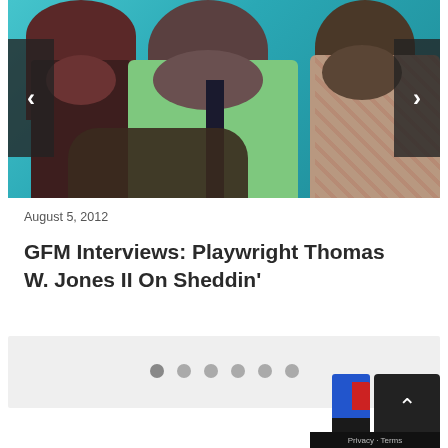[Figure (photo): Three men photographed together against a teal/cyan background. The man on the left wears a dark maroon/brown patterned shirt, the man in the center wears a light green shirt, and the man on the right wears a floral/patterned shirt. Navigation arrows are overlaid on left and right sides of the image.]
August 5, 2012
GFM Interviews: Playwright Thomas W. Jones II On Sheddin'